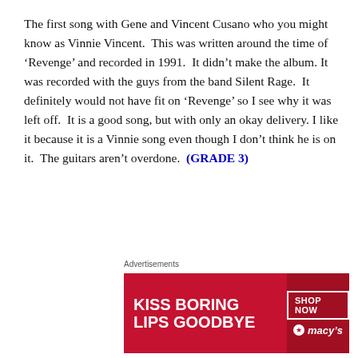The first song with Gene and Vincent Cusano who you might know as Vinnie Vincent. This was written around the time of 'Revenge' and recorded in 1991. It didn't make the album. It was recorded with the guys from the band Silent Rage. It definitely would not have fit on 'Revenge' so I see why it was left off. It is a good song, but with only an okay delivery. I like it because it is a Vinnie song even though I don't think he is on it. The guitars aren't overdone. (GRADE 3)
“IF IT’S TOO HOT, YOU’RE TOO COLD”
Written by Gene, it was recorded in 1990 with the band
[Figure (other): Advertisement banner: 'KISS BORING LIPS GOODBYE' with SHOP NOW button and Macy's logo]